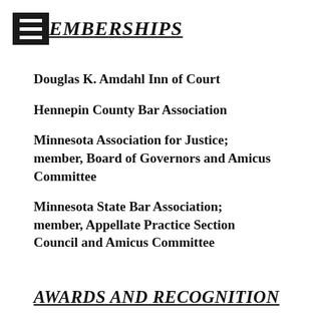MEMBERSHIPS
Douglas K. Amdahl Inn of Court
Hennepin County Bar Association
Minnesota Association for Justice; member, Board of Governors and Amicus Committee
Minnesota State Bar Association; member, Appellate Practice Section Council and Amicus Committee
AWARDS AND RECOGNITION